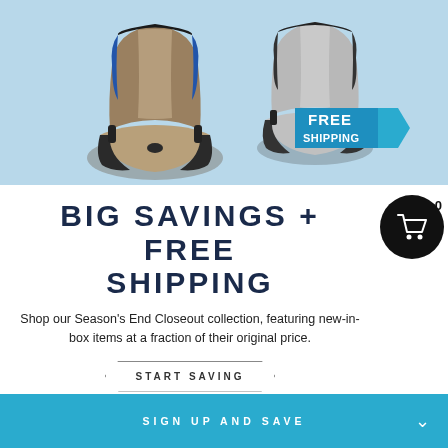[Figure (photo): Two boat/fishing seats on light blue background. Left seat is tan/khaki and blue/dark, right seat is gray/charcoal. A 'FREE SHIPPING' badge in blue and white is in the lower right of the image.]
BIG SAVINGS + FREE SHIPPING
Shop our Season's End Closeout collection, featuring new-in-box items at a fraction of their original price.
START SAVING
SIGN UP AND SAVE